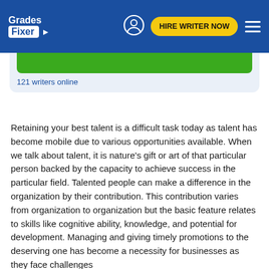[Figure (logo): Grades Fixer logo with white text on blue background and pencil/arrow icon]
121 writers online
Retaining your best talent is a difficult task today as talent has become mobile due to various opportunities available. When we talk about talent, it is nature's gift or art of that particular person backed by the capacity to achieve success in the particular field. Talented people can make a difference in the organization by their contribution. This contribution varies from organization to organization but the basic feature relates to skills like cognitive ability, knowledge, and potential for development. Managing and giving timely promotions to the deserving one has become a necessity for businesses as they face challenges